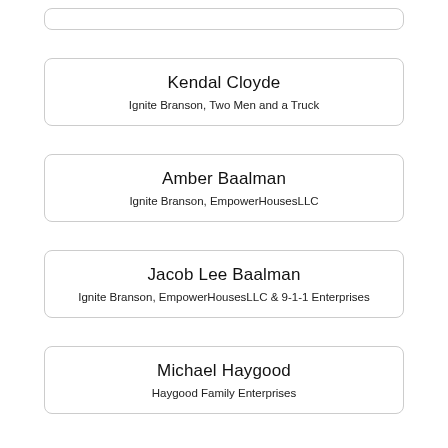(partial card at top — cropped)
Kendal Cloyde
Ignite Branson, Two Men and a Truck
Amber Baalman
Ignite Branson, EmpowerHousesLLC
Jacob Lee Baalman
Ignite Branson, EmpowerHousesLLC & 9-1-1 Enterprises
Michael Haygood
Haygood Family Enterprises